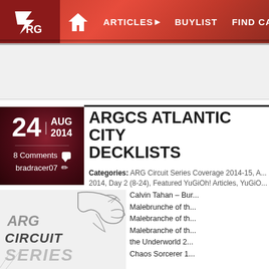[Figure (screenshot): ARG website navigation bar with logo, home icon, and menu items: ARTICLES, BUYLIST, FIND CARDS, EVEN...]
ARGCS ATLANTIC CITY DECKLISTS
24 | AUG 2014
8 Comments
bradracer07
Categories: ARG Circuit Series Coverage 2014-15, A... 2014, Day 2 (8-24), Featured YuGiOh! Articles, YuGiO...
[Figure (logo): ARG Circuit Series logo]
Calvin Tahan – Bur... Malebrunche of th... Malebranche of th... Malebranche of th... the Underworld 2... Chaos Sorcerer 1...